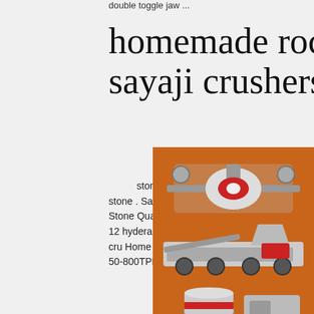double toggle jaw ...
homemade rock crusher sayaji crushers hyderabad
stone crushers in hyderabad india sand m stone . Sayaji Stone Crushers Ahmedabad Sa Stone QuarrySayaji Crusher Sayaji stone cru 12 hyderabad africarhirecozahat is the cost o cru Home Stone Crushing Plant Production C 50-800TPH. Get Price
[Figure (infographic): Orange sidebar with images of stone crushing machines, a yellow 'Enjoy 3% discount' bar, a 'Click to Chat' button, an Enquiry section, and limingjlmofen @sina.com contact.]
sayaji stone crusher hyderabad - p389.waw.pl